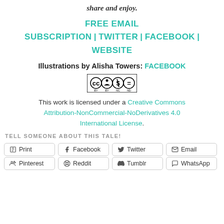share and enjoy.
FREE EMAIL SUBSCRIPTION | TWITTER | FACEBOOK | WEBSITE
Illustrations by Alisha Towers: FACEBOOK
[Figure (logo): Creative Commons BY NC ND license badge]
This work is licensed under a Creative Commons Attribution-NonCommercial-NoDerivatives 4.0 International License.
TELL SOMEONE ABOUT THIS TALE!
Print
Facebook
Twitter
Email
Pinterest
Reddit
Tumblr
WhatsApp